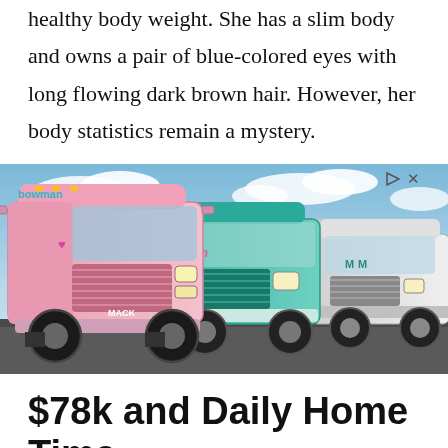healthy body weight. She has a slim body and owns a pair of blue-colored eyes with long flowing dark brown hair. However, her body statistics remain a mystery.
[Figure (photo): Three Mack semi-trucks parked side by side: a pink truck on the left with a 'bowman' logo, a teal/turquoise truck in the middle, and a white truck on the right. Sky with clouds in the background.]
$78k and Daily Home Time
Drivers: one of the most rewarding jobs...